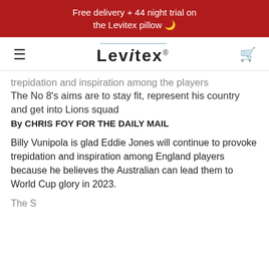Free delivery + 44 night trial on the Levitex pillow 🌙
[Figure (logo): Levitex logo with hamburger menu icon on the left and bag icon on the right]
trepidation and inspiration among the players
The No 8's aims are to stay fit, represent his country and get into Lions squad
By CHRIS FOY FOR THE DAILY MAIL
Billy Vunipola is glad Eddie Jones will continue to provoke trepidation and inspiration among England players because he believes the Australian can lead them to World Cup glory in 2023.
The Saracens No 8 is...